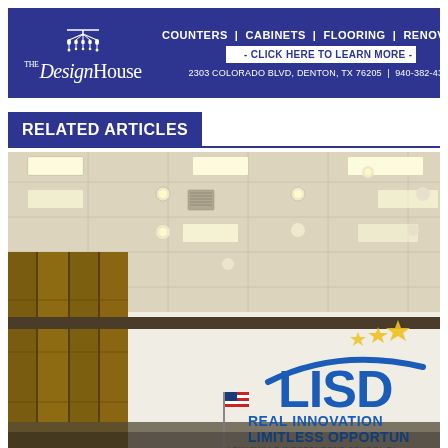[Figure (logo): The Design House advertisement banner with chandelier logo, text: COUNTERS | CABINETS | FLOORING | RENOVATION, - CLICK HERE TO LEARN MORE -, 2303 COLORADO BLVD, DENTON, TX 76205 | 940-382-4340]
RELATED ARTICLES
[Figure (photo): Interior photo of LISD (Lewisville Independent School District) boardroom or building lobby. Shows a ceiling with recessed rectangular and round lights, a wooden pillar/wall panel on the left, and the LISD logo on the right wall with text: LISD REAL INNOVATION LIMITLESS OPPORTUN... LEWISVILLE INDEPENDENT SCHOOL DI... Three yellow stars above the logo. An American flag is partially visible in the lower center.]